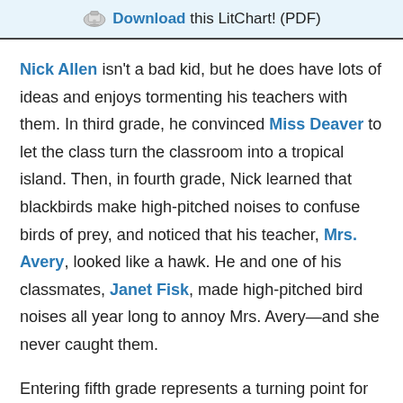Download this LitChart! (PDF)
Nick Allen isn't a bad kid, but he does have lots of ideas and enjoys tormenting his teachers with them. In third grade, he convinced Miss Deaver to let the class turn the classroom into a tropical island. Then, in fourth grade, Nick learned that blackbirds make high-pitched noises to confuse birds of prey, and noticed that his teacher, Mrs. Avery, looked like a hawk. He and one of his classmates, Janet Fisk, made high-pitched bird noises all year long to annoy Mrs. Avery—and she never caught them.
Entering fifth grade represents a turning point for Lincoln Elementary students. They no longer get recess, they get real letter grades, and they all get Mrs. Granger for language arts. Mrs. Granger has a reputation for being strict and assigning lots of homework, especially